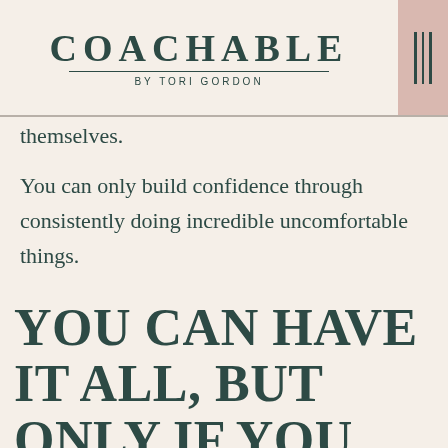COACHABLE BY TORI GORDON
themselves.
You can only build confidence through consistently doing incredible uncomfortable things.
YOU CAN HAVE IT ALL, BUT ONLY IF YOU EARN EVERY INCH OF IT.